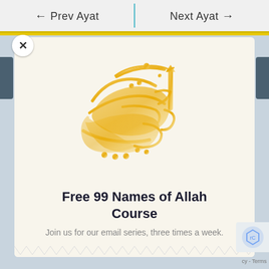← Prev Ayat    Next Ayat →
[Figure (illustration): Arabic calligraphy in golden/yellow color showing Al-Rahman (الرحمن) name of Allah in stylized Arabic script]
Free 99 Names of Allah Course
Join us for our email series, three times a week.
cy - Terms